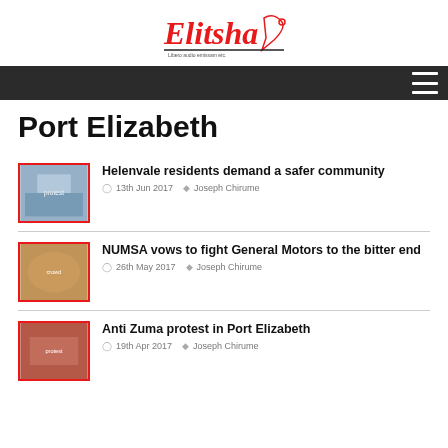[Figure (logo): Elitsha logo - red italic text with a pen/microphone graphic and underline]
Navigation bar with hamburger menu icon
Port Elizabeth
Helenvale residents demand a safer community
13th Jun 2017  Joseph Chirume
NUMSA vows to fight General Motors to the bitter end
26th May 2017  Joseph Chirume
Anti Zuma protest in Port Elizabeth
19th Apr 2017  Joseph Chirume